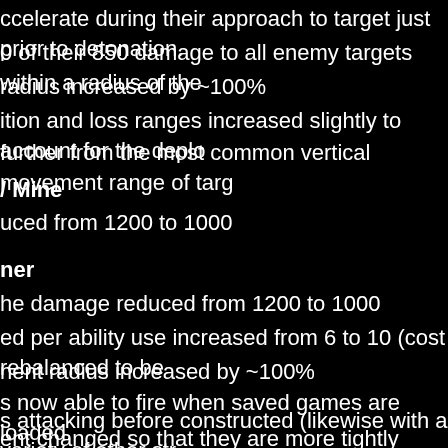ccelerate during their approach to target just prior to detonation.
0 of their 850 damage to all enemy targets within a radius of the
radius increased by ~100%
ition and loss ranges increased slightly to account for the deplo
further from the most common vertical movement range of targ
/ Mine
uced from 1200 to 1000
ner
he damage reduced from 1200 to 1000
ed per ability use increased from 6 to 10 (cost rebalanced to be
nent radius increased by ~100%
s now able to fire when saved games are loaded.
s attacking before constructed (likewise with a variety of other str
ent changed so that they are more tightly clustered about the ar
rbase build and upgrade time modifier in hostile gravity wells fro
oit with Pervasive economy and refunding.